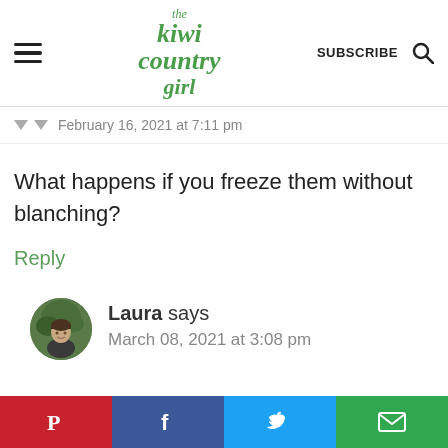The Kiwi Country Girl — SUBSCRIBE
February 16, 2021 at 7:11 pm
What happens if you freeze them without blanching?
Reply
Laura says
March 08, 2021 at 3:08 pm
[Figure (illustration): Social share bar with Pinterest, Facebook, Twitter, and Email buttons]